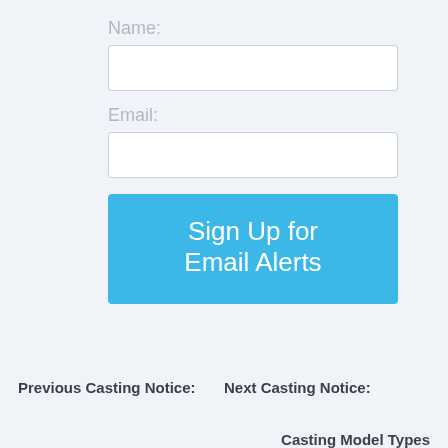Name:
[Figure (other): Text input field for Name]
Email:
[Figure (other): Text input field for Email]
Sign Up for Email Alerts
Previous Casting Notice:
Next Casting Notice:
Casting Model Types